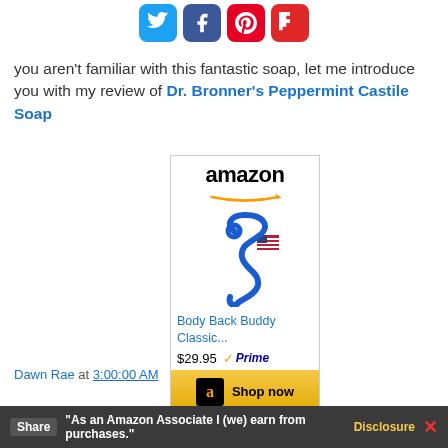[Figure (infographic): Social media share icons: Twitter (blue bird), Facebook (blue f), Pinterest (red P), Flipboard (red F) arranged horizontally]
you aren't familiar with this fantastic soap, let me introduce you with my review of Dr. Bronner's Peppermint Castile Soap
[Figure (screenshot): Amazon advertisement box showing 'Body Back Buddy Classic...' product at $29.95 with Prime badge and Shop now button]
Dawn Rae at 3:00:00 AM
Share | "As an Amazon Associate I (we) earn from purchases." Disclosure X